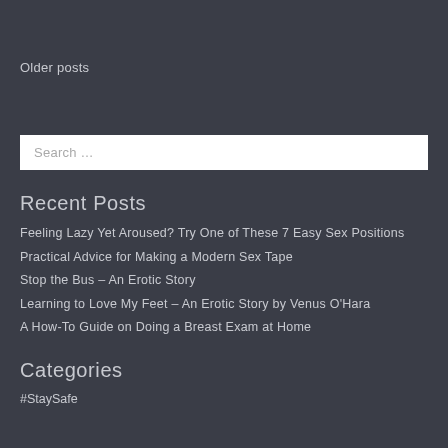Older posts
Search …
Recent Posts
Feeling Lazy Yet Aroused? Try One of These 7 Easy Sex Positions
Practical Advice for Making a Modern Sex Tape
Stop the Bus – An Erotic Story
Learning to Love My Feet – An Erotic Story by Venus O'Hara
A How-To Guide on Doing a Breast Exam at Home
Categories
#StaySafe